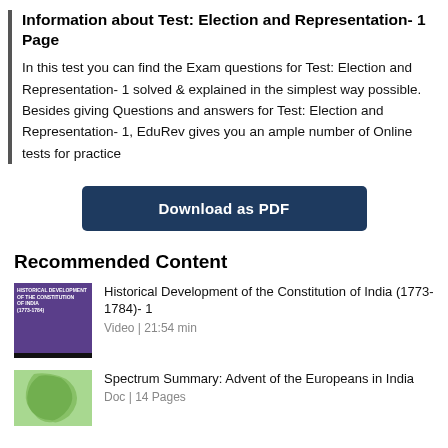Information about Test: Election and Representation- 1 Page
In this test you can find the Exam questions for Test: Election and Representation- 1 solved & explained in the simplest way possible. Besides giving Questions and answers for Test: Election and Representation- 1, EduRev gives you an ample number of Online tests for practice
[Figure (other): Download as PDF button]
Recommended Content
Historical Development of the Constitution of India (1773-1784)- 1
Video | 21:54 min
Spectrum Summary: Advent of the Europeans in India
Doc | 14 Pages